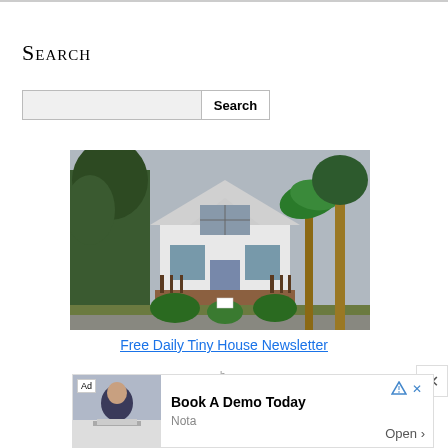Search
[Figure (screenshot): Search input box with Search button]
[Figure (photo): A small white cottage house surrounded by tropical trees and palm trees with a wooden deck/porch in front]
Free Daily Tiny House Newsletter
[Figure (screenshot): Advertisement banner: Book A Demo Today - Nota, with Open button and ad photo of a man]